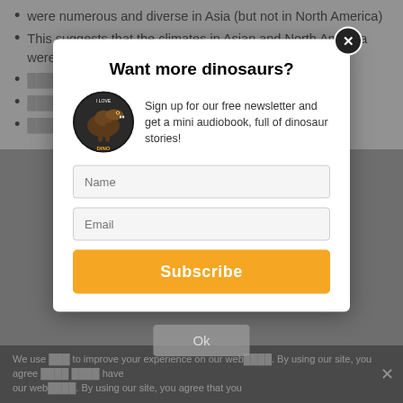were numerous and diverse in Asia (but not in North America)
This suggests that the climates in Asian and North America were different at the time
[partially obscured] est [partially obscured]
[partially obscured] ints [partially obscured]
[partially obscured] me
Want more dinosaurs?
[Figure (illustration): Circular dinosaur logo/badge with a T-Rex and text 'I LOVE DINO']
Sign up for our free newsletter and get a mini audiobook, full of dinosaur stories!
Name
Email
Subscribe
We use [cookies] to improve your experience on our web[site]. By using our site, you agree [that you accept our] cookies policy. expands from [  ] [ines). If this is true, it would be sim[ilar to what] scientists think Parasaurolophus could do. However, parts of
Ok